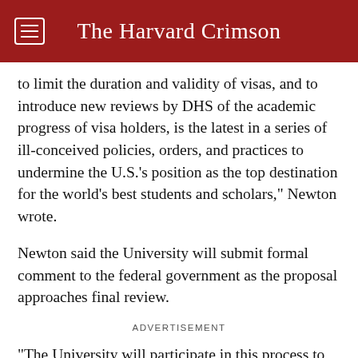The Harvard Crimson
to limit the duration and validity of visas, and to introduce new reviews by DHS of the academic progress of visa holders, is the latest in a series of ill-conceived policies, orders, and practices to undermine the U.S.’s position as the top destination for the world’s best students and scholars,” Newton wrote.
Newton said the University will submit formal comment to the federal government as the proposal approaches final review.
ADVERTISEMENT
“The University will participate in this process to share our abiding support for international students and scholars, and in the hope that these views will encourage DHS to reconsider its deeply flawed proposal,” Newton added.